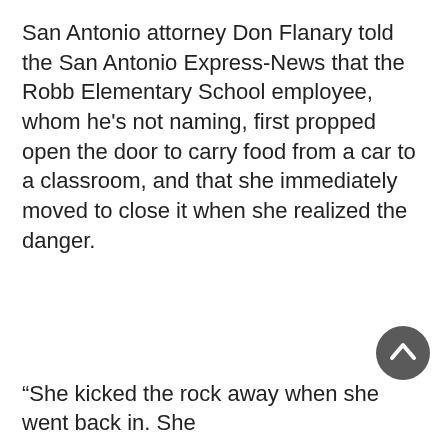San Antonio attorney Don Flanary told the San Antonio Express-News that the Robb Elementary School employee, whom he's not naming, first propped open the door to carry food from a car to a classroom, and that she immediately moved to close it when she realized the danger.
[Figure (other): Circular scroll-to-top button with upward chevron arrow, dark gray background]
“She kicked the rock away when she went back in. She